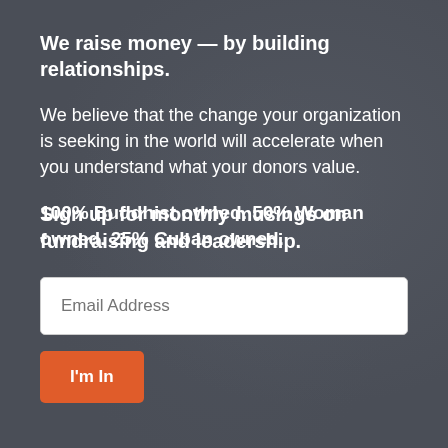We raise money — by building relationships.
We believe that the change your organization is seeking in the world will accelerate when you understand what your donors value.
100% Buddhist owned. 50% Woman owned. 25% Cuban owned.
Sign up for monthly musings on fundraising and leadership.
Email Address
I'm In